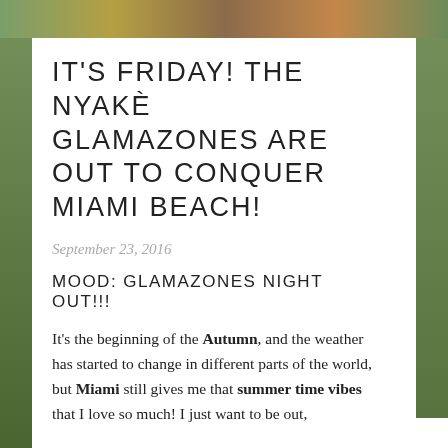[Figure (photo): Top strip with nature/outdoor photo collage]
IT'S FRIDAY! THE NYAKÈ GLAMAZONES ARE OUT TO CONQUER MIAMI BEACH!
September 23, 2016
MOOD: GLAMAZONES NIGHT OUT!!!
It's the beginning of the Autumn, and the weather has started to change in different parts of the world, but Miami still gives me that summer time vibes that I love so much! I just want to be out,